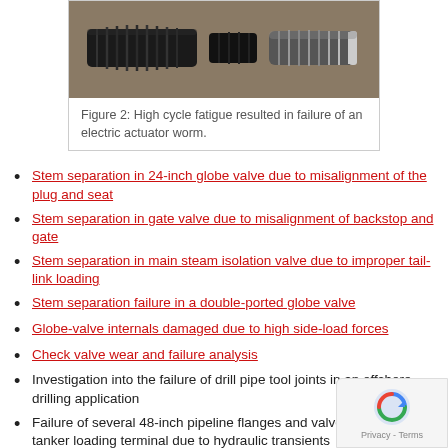[Figure (photo): Photo of a broken electric actuator worm gear component showing two separated metal pieces - springs/threaded rod on left and cylindrical threaded piece on right, on a tan/beige surface.]
Figure 2: High cycle fatigue resulted in failure of an electric actuator worm.
Stem separation in 24-inch globe valve due to misalignment of the plug and seat
Stem separation in gate valve due to misalignment of backstop and gate
Stem separation in main steam isolation valve due to improper tail-link loading
Stem separation failure in a double-ported globe valve
Globe-valve internals damaged due to high side-load forces
Check valve wear and failure analysis
Investigation into the failure of drill pipe tool joints in an offshore drilling application
Failure of several 48-inch pipeline flanges and valves at a crude oil tanker loading terminal due to hydraulic transients
Failure of a combination friction clutch and brake mechanism in a high-speed automatic punch
Investigation of a steam turbine that failed by over-speeding